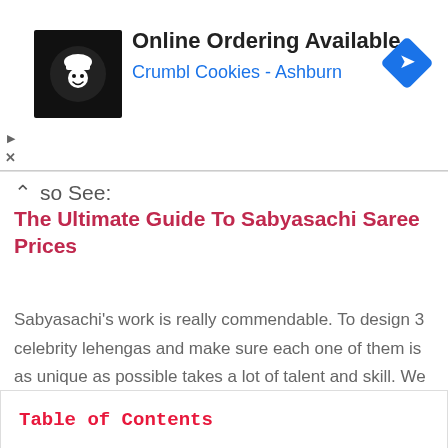[Figure (other): Advertisement banner for Crumbl Cookies Ashburn showing logo, text 'Online Ordering Available', 'Crumbl Cookies - Ashburn', and a blue navigation diamond icon]
Also See: The Ultimate Guide To Sabyasachi Saree Prices
Sabyasachi's work is really commendable. To design 3 celebrity lehengas and make sure each one of them is as unique as possible takes a lot of talent and skill. We love his couture and who doesn't? We hope this blog gave you the details you have been seeking for a while! If you've got any more questions, comment on this blog and we will answer it within 48 hours.
Table of Contents